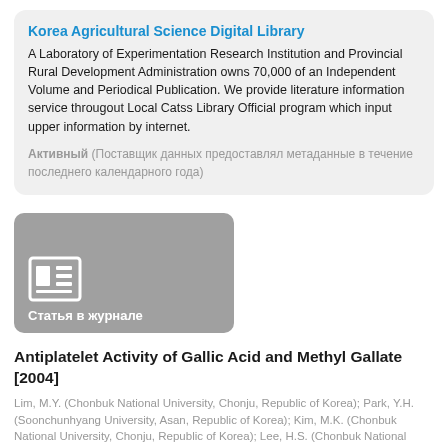Korea Agricultural Science Digital Library
A Laboratory of Experimentation Research Institution and Provincial Rural Development Administration owns 70,000 of an Independent Volume and Periodical Publication. We provide literature information service througout Local Catss Library Official program which input upper information by internet.
Активный (Поставщик данных предоставлял метаданные в течение последнего календарного года)
[Figure (illustration): Article thumbnail icon showing a newspaper/journal article icon on grey background with label Статья в журнале]
Antiplatelet Activity of Gallic Acid and Methyl Gallate [2004]
Lim, M.Y. (Chonbuk National University, Chonju, Republic of Korea); Park, Y.H. (Soonchunhyang University, Asan, Republic of Korea); Kim, M.K. (Chonbuk National University, Chonju, Republic of Korea); Lee, H.S. (Chonbuk National University, Chonju, Republic of Korea). E-mail: hoiseon@chonbuk.ac.kr; et al.
Доступ к полному тексту